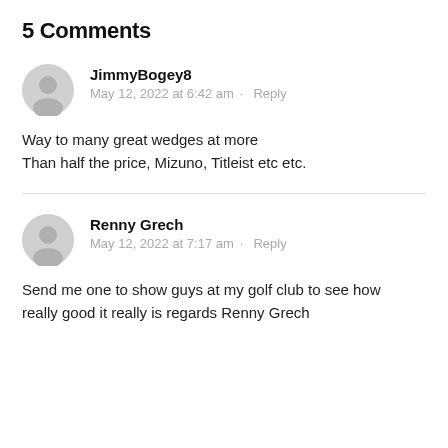5 Comments
JimmyBogey8
May 12, 2022 at 6:42 am · Reply

Way to many great wedges at more
Than half the price, Mizuno, Titleist etc etc.
Renny Grech
May 12, 2022 at 7:17 am · Reply

Send me one to show guys at my golf club to see how really good it really is regards Renny Grech